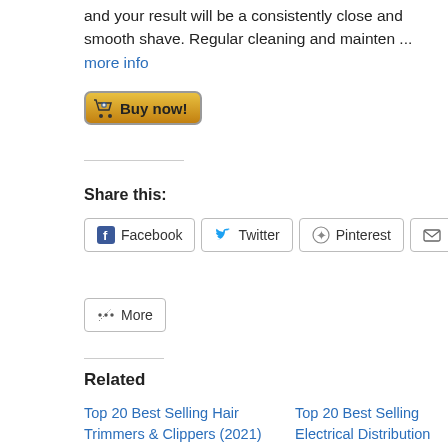and your result will be a consistently close and smooth shave. Regular cleaning and mainten ... more info
[Figure (other): Buy now! button with cart icon]
Share this:
[Figure (other): Social sharing buttons: Facebook, Twitter, Pinterest, Email, More]
Related
Top 20 Best Selling Hair Trimmers & Clippers (2021) Reviews
Top 20 Best Selling Electrical Distribution Switchers (2021) Reviews
Top 20 Best Selling Compact Stereo Systems (2021) Reviews
Top 20 Best Selling DVD Home Theater Systems (2021) Reviews
Top 20 Best Selling VoIP Phones (2021) Reviews